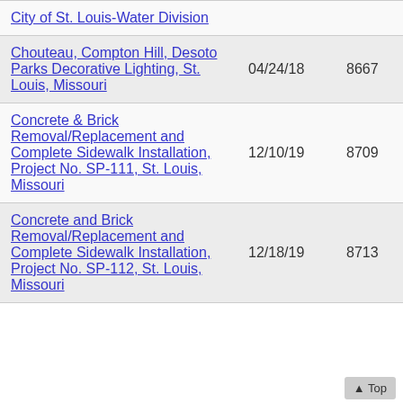| Name | Date | Number | Type |
| --- | --- | --- | --- |
| City of St. Louis-Water Division |  |  |  |
| Chouteau, Compton Hill, Desoto Parks Decorative Lighting, St. Louis, Missouri | 04/24/18 | 8667 | Project |
| Concrete & Brick Removal/Replacement and Complete Sidewalk Installation, Project No. SP-111, St. Louis, Missouri | 12/10/19 | 8709 | Project |
| Concrete and Brick Removal/Replacement and Complete Sidewalk Installation, Project No. SP-112, St. Louis, Missouri | 12/18/19 | 8713 | Project |